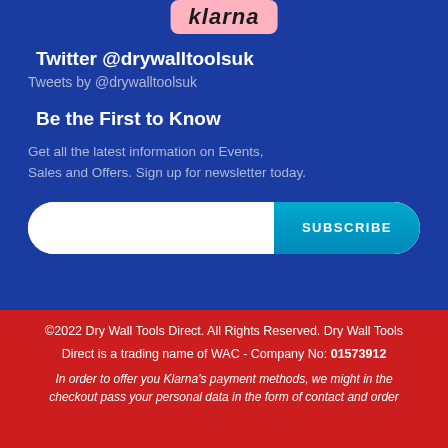[Figure (logo): Klarna pink badge/logo at the top of the blue section]
Twitter @drywalltoolsuk
Tweets by @drywalltoolsuk
Be the First to Know
Get all the latest information on Events, Sales and Offers. Sign up for newsletter today.
SUBSCRIBE
©2022 Dry Wall Tools Direct. All Rights Reserved. Dry Wall Tools Direct is a trading name of WAC - Company No: 01573912 In order to offer you Klarna's payment methods, we might in the checkout pass your personal data in the form of contact and order